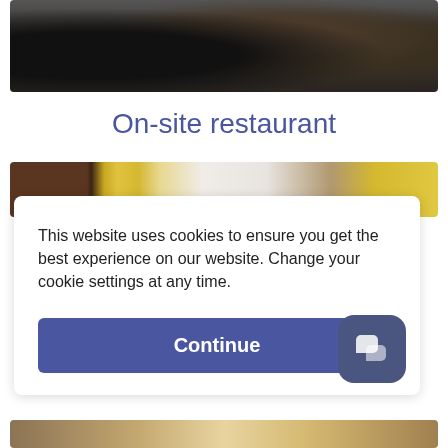[Figure (photo): Top photo showing restaurant interior with dark chairs and tables, viewed from above]
On-site restaurant
[Figure (photo): Photo of food items on a table including bread and bottles]
This website uses cookies to ensure you get the best experience on our website. Change your cookie settings at any time.
[Figure (screenshot): Continue button - cookie consent dialog with blue Continue button and chat icon]